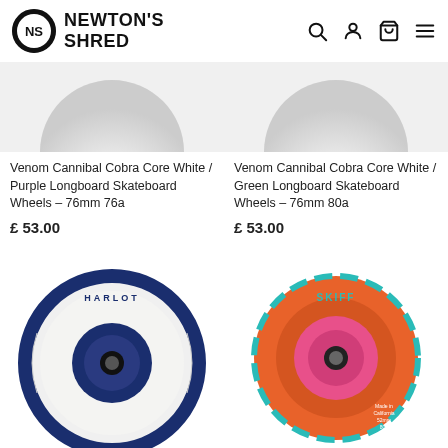[Figure (logo): Newton's Shred logo - circular NS emblem with brand name]
Newton's Shred - navigation with search, account, cart, and menu icons
[Figure (photo): White skateboard wheel (partial, top cropped) - Venom Cannibal Cobra Core White/Purple]
Venom Cannibal Cobra Core White / Purple Longboard Skateboard Wheels – 76mm 76a
£ 53.00
[Figure (photo): White skateboard wheel (partial, top cropped) - Venom Cannibal Cobra Core White/Green]
Venom Cannibal Cobra Core White / Green Longboard Skateboard Wheels – 76mm 80a
£ 53.00
[Figure (photo): White and dark blue Harlot skateboard wheel with blue hub]
[Figure (photo): Orange Skiff skateboard wheel with pink hub, floral design]